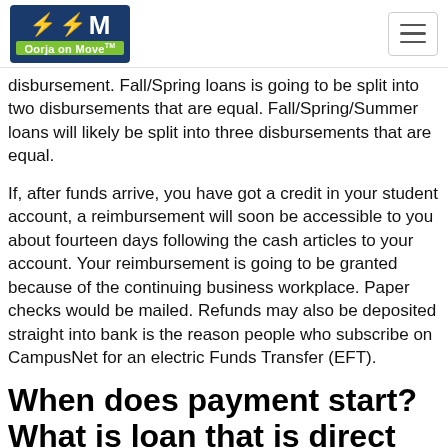Oorja on Move
disbursement. Fall/Spring loans is going to be split into two disbursements that are equal. Fall/Spring/Summer loans will likely be split into three disbursements that are equal.
If, after funds arrive, you have got a credit in your student account, a reimbursement will soon be accessible to you about fourteen days following the cash articles to your account. Your reimbursement is going to be granted because of the continuing business workplace. Paper checks would be mailed. Refunds may also be deposited straight into bank is the reason people who subscribe on CampusNet for an electric Funds Transfer (EFT).
When does payment start? What is loan that is direct and